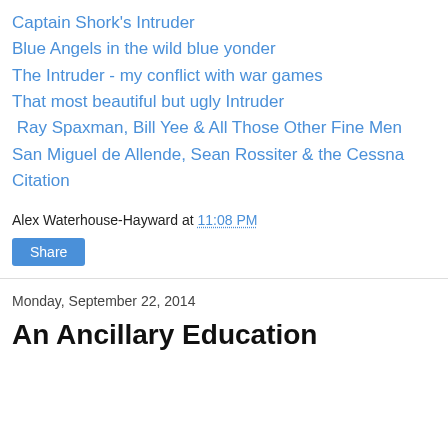Captain Shork's Intruder
Blue Angels in the wild blue yonder
The Intruder - my conflict with war games
That most beautiful but ugly Intruder
Ray Spaxman, Bill Yee & All Those Other Fine Men
San Miguel de Allende, Sean Rossiter & the Cessna Citation
Alex Waterhouse-Hayward at 11:08 PM
Share
Monday, September 22, 2014
An Ancillary Education